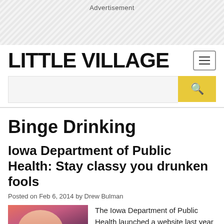Advertisement
LITTLE VILLAGE
Binge Drinking
Iowa Department of Public Health: Stay classy you drunken fools
Posted on Feb 6, 2014 by Drew Bulman
[Figure (photo): Photo of a person with face paint/markers drawn on them, eyes closed]
The Iowa Department of Public Health launched a website last year called "Stay Classy," and